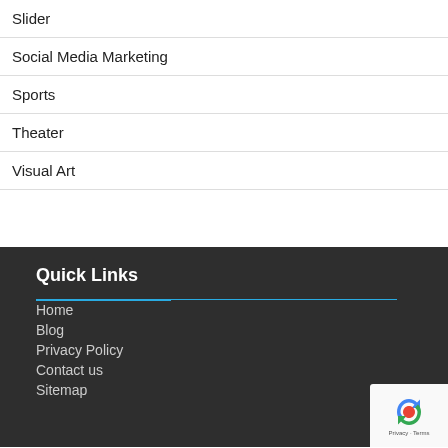Slider
Social Media Marketing
Sports
Theater
Visual Art
Quick Links
Home
Blog
Privacy Policy
Contact us
Sitemap